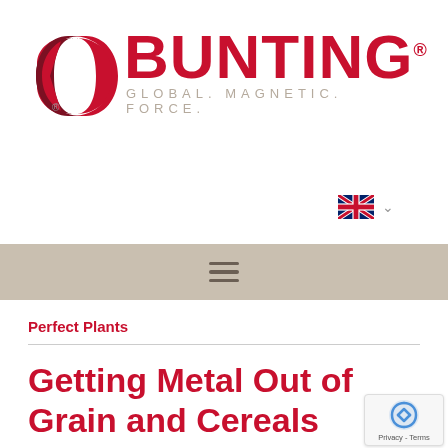[Figure (logo): Bunting logo with two circular arc shapes in dark red/crimson on the left, and the word BUNTING in large bold red letters. Tagline reads GLOBAL. MAGNETIC. FORCE. in light grey spaced letters below.]
[Figure (other): UK flag (Union Jack) language selector with a downward chevron arrow, indicating English language selection.]
[Figure (other): Hamburger menu icon (three horizontal lines) on a tan/beige navigation bar background.]
Perfect Plants
Getting Metal Out of Grain and Cereals